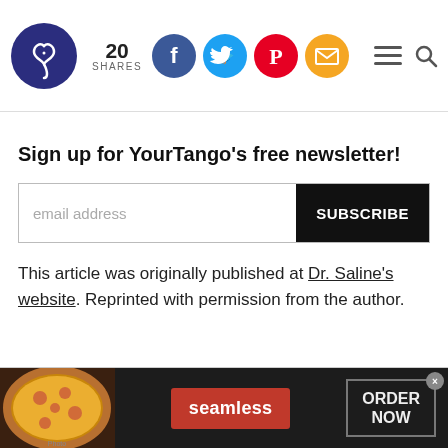YourTango logo, 20 SHARES, social icons (Facebook, Twitter, Pinterest, Email), menu and search icons
Sign up for YourTango's free newsletter!
email address [SUBSCRIBE button]
This article was originally published at Dr. Saline's website. Reprinted with permission from the author.
[Figure (infographic): Seamless food delivery advertisement banner with pizza image on left, red Seamless badge in center, and ORDER NOW button on right with close X button]